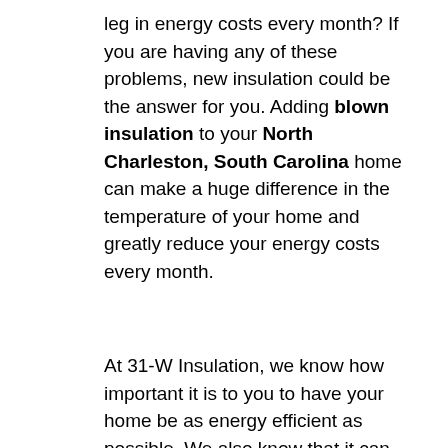leg in energy costs every month? If you are having any of these problems, new insulation could be the answer for you. Adding blown insulation to your North Charleston, South Carolina home can make a huge difference in the temperature of your home and greatly reduce your energy costs every month.
At 31-W Insulation, we know how important it is to you to have your home be as energy efficient as possible. We also know that it can be so